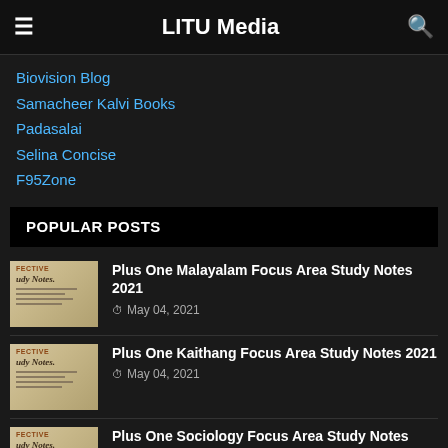LITU Media
Biovision Blog
Samacheer Kalvi Books
Padasalai
Selina Concise
F95Zone
POPULAR POSTS
[Figure (photo): Study notes book cover thumbnail]
Plus One Malayalam Focus Area Study Notes 2021
May 04, 2021
[Figure (photo): Study notes book cover thumbnail]
Plus One Kaithang Focus Area Study Notes 2021
May 04, 2021
[Figure (photo): Study notes book cover thumbnail]
Plus One Sociology Focus Area Study Notes 2021
May 04, 2021